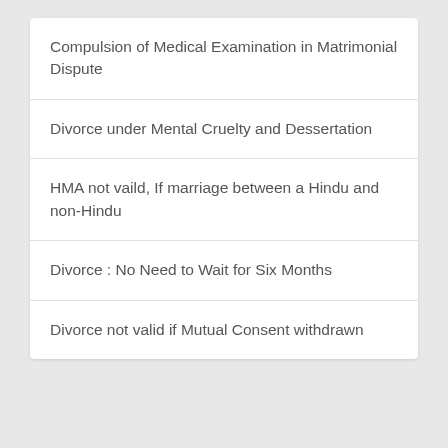Compulsion of Medical Examination in Matrimonial Dispute
Divorce under Mental Cruelty and Dessertation
HMA not vaild, If marriage between a Hindu and non-Hindu
Divorce : No Need to Wait for Six Months
Divorce not valid if Mutual Consent withdrawn